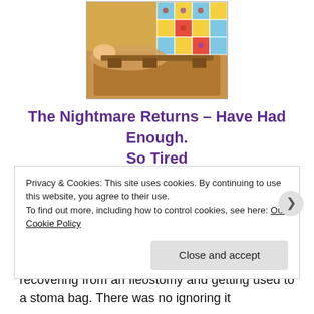[Figure (illustration): A tarot card illustration showing a figure lying on a bed with a colorful patterned quilt, ornate wooden headboard visible.]
The Nightmare Returns – Have Had Enough. So Tired
You can imagine my despair and upset, when after surviving major surgery eight weeks ago, the neck and jaw problem decided to make a triumphant return. I just didn't see it coming, and thought that I had enough to be getting on with recovering from an Ileostomy and getting used to a stoma bag. There was no ignoring it
Privacy & Cookies: This site uses cookies. By continuing to use this website, you agree to their use.
To find out more, including how to control cookies, see here: Our Cookie Policy
Close and accept